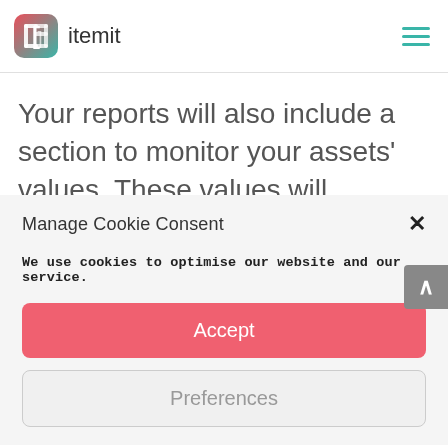[Figure (logo): itemit logo: rounded square icon with gradient red-to-teal color and a bracket symbol, followed by the text 'itemit']
Your reports will also include a section to monitor your assets’ values. These values will depreciate, showing you how much depreciation has occurred against a group of assets, or against all
Manage Cookie Consent
We use cookies to optimise our website and our service.
Accept
Preferences